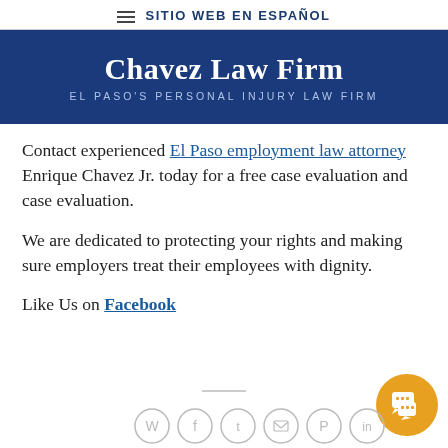SITIO WEB EN ESPAÑOL
[Figure (logo): Chavez Law Firm banner with blue background. Title: Chavez Law Firm. Subtitle: EL PASO'S PERSONAL INJURY LAW FIRM]
Contact experienced El Paso employment law attorney Enrique Chavez Jr. today for a free case evaluation and case evaluation.
We are dedicated to protecting your rights and making sure employers treat their employees with dignity.
Like Us on Facebook
[Figure (illustration): Orange circular chat/messaging button icon in bottom right corner, and social share icons (WhatsApp, Facebook, Twitter, Email, Pinterest, LinkedIn) along the bottom center]